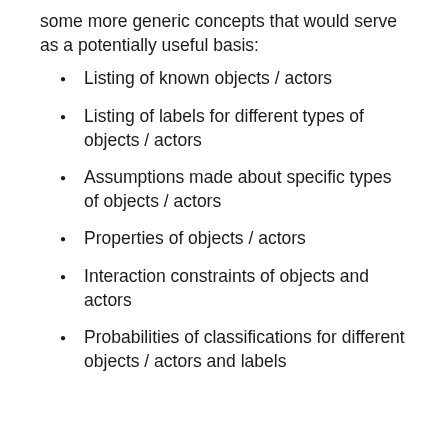some more generic concepts that would serve as a potentially useful basis:
Listing of known objects / actors
Listing of labels for different types of objects / actors
Assumptions made about specific types of objects / actors
Properties of objects / actors
Interaction constraints of objects and actors
Probabilities of classifications for different objects / actors and labels